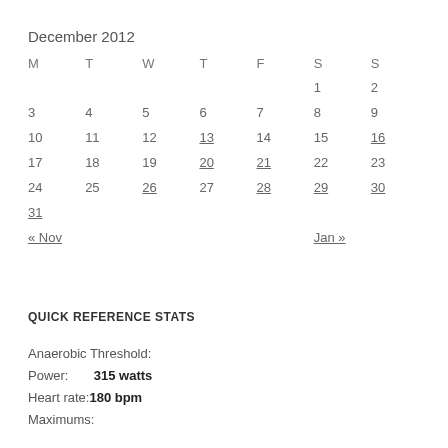December 2012
| M | T | W | T | F | S | S |
| --- | --- | --- | --- | --- | --- | --- |
|  |  |  |  |  | 1 | 2 |
| 3 | 4 | 5 | 6 | 7 | 8 | 9 |
| 10 | 11 | 12 | 13 | 14 | 15 | 16 |
| 17 | 18 | 19 | 20 | 21 | 22 | 23 |
| 24 | 25 | 26 | 27 | 28 | 29 | 30 |
| 31 |  |  |  |  |  |  |
« Nov    Jan »
QUICK REFERENCE STATS
Anaerobic Threshold:
Power:   315 watts
Heart rate: 180 bpm
Maximums: